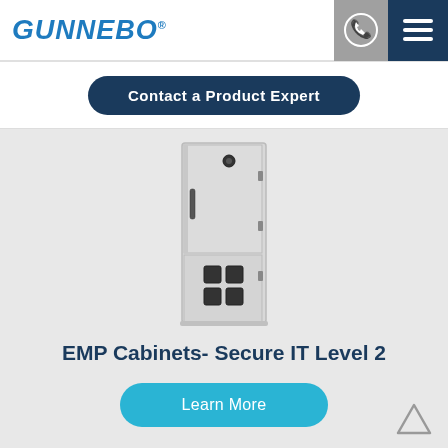GUNNEBO®
Contact a Product Expert
[Figure (photo): A tall light grey EMP security cabinet with a single door, locking handle on the left, circular lock at top, and four square cable entry ports near the bottom.]
EMP Cabinets- Secure IT Level 2
Learn More